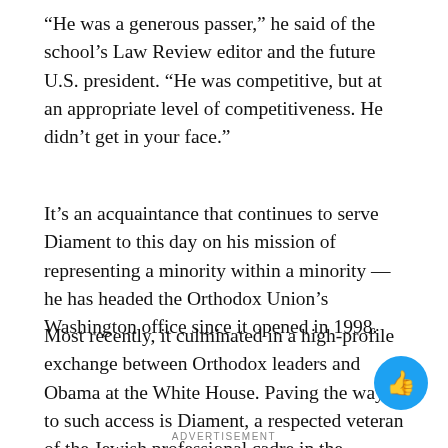“He was a generous passer,” he said of the school’s Law Review editor and the future U.S. president. “He was competitive, but at an appropriate level of competitiveness. He didn’t get in your face.”
It’s an acquaintance that continues to serve Diament to this day on his mission of representing a minority within a minority — he has headed the Orthodox Union’s Washington office since it opened in 1998.
Most recently, it culminated in a high-profile exchange between Orthodox leaders and Obama at the White House. Paving the way to such access is Diament, a respected veteran of the Jewish professional cadre in the nation’s capital.
ADVERTISEMENT